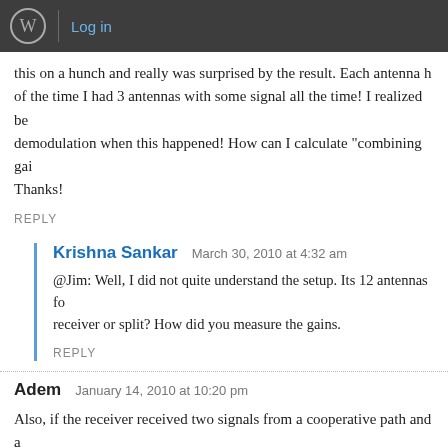Log in
this on a hunch and really was surprised by the result. Each antenna h of the time I had 3 antennas with some signal all the time! I realized be demodulation when this happened! How can I calculate "combining gai Thanks!
REPLY
Krishna Sankar  March 30, 2010 at 4:32 am
@Jim: Well, I did not quite understand the setup. Its 12 antennas fo receiver or split? How did you measure the gains.
REPLY
Adem  January 14, 2010 at 10:20 pm
Also, if the receiver received two signals from a cooperative path and a how to combine these two signals using MRC and how to find the over probability?
my best regards.